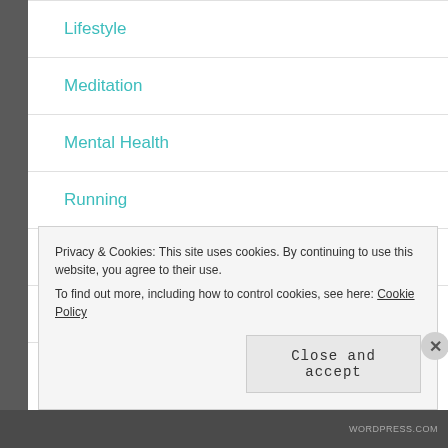Lifestyle
Meditation
Mental Health
Running
Skin
Uncategorized
Privacy & Cookies: This site uses cookies. By continuing to use this website, you agree to their use. To find out more, including how to control cookies, see here: Cookie Policy
Close and accept
WORDPRESS.COM